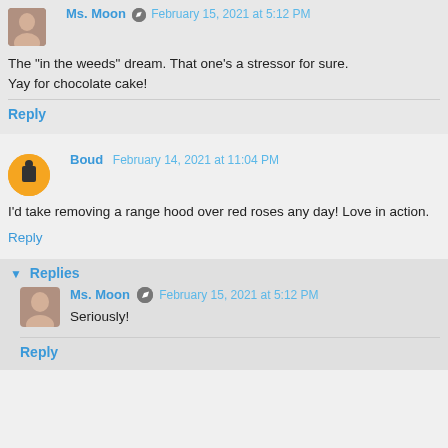Ms. Moon  February 15, 2021 at 5:12 PM
The "in the weeds" dream. That one's a stressor for sure.
Yay for chocolate cake!
Reply
Boud  February 14, 2021 at 11:04 PM
I'd take removing a range hood over red roses any day! Love in action.
Reply
▼ Replies
Ms. Moon  February 15, 2021 at 5:12 PM
Seriously!
Reply